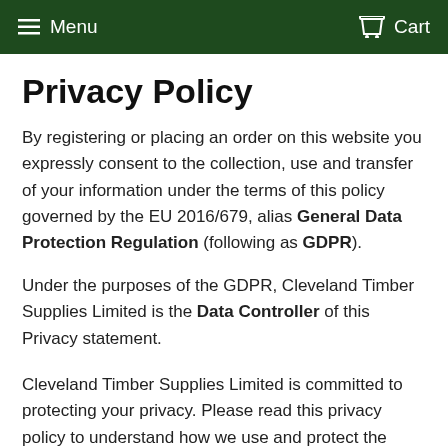Menu  Cart
Privacy Policy
By registering or placing an order on this website you expressly consent to the collection, use and transfer of your information under the terms of this policy governed by the EU 2016/679, alias General Data Protection Regulation (following as GDPR).
Under the purposes of the GDPR, Cleveland Timber Supplies Limited is the Data Controller of this Privacy statement.
Cleveland Timber Supplies Limited is committed to protecting your privacy. Please read this privacy policy to understand how we use and protect the information that